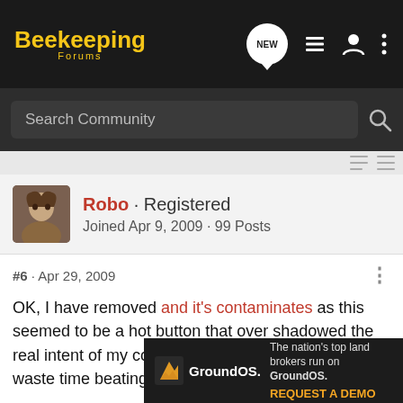Beekeeping Forums
Search Community
Robo · Registered
Joined Apr 9, 2009 · 99 Posts
#6 · Apr 29, 2009
OK, I have removed and it's contaminates as this seemed to be a hot button that over shadowed the real intent of my comment and I have no desire to waste time beating that dead horse again.

Like I said, it comes down to personal choice and I have no issue with whatever you do. Just represent your methods, and compare your methods and products fairly and accurately.
[Figure (screenshot): GroundOS advertisement banner at bottom of page. Text: The nation's top land brokers run on GroundOS. REQUEST A DEMO]